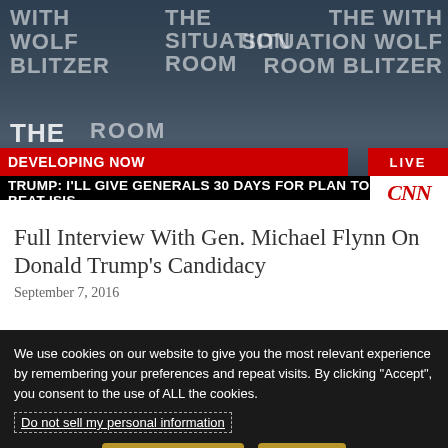[Figure (screenshot): CNN television screenshot showing a news anchor/guest (man in suit) with CNN lower-third chyron reading 'DEVELOPING NOW' and 'TRUMP: I'LL GIVE GENERALS 30 DAYS FOR PLAN TO BEAT ISIS' with CNN logo and LIVE badge. Background watermark text reads 'WITH WOLF BLITZER', 'THE SITUATION ROOM' repeated.]
Full Interview With Gen. Michael Flynn On Donald Trump's Candidacy
September 7, 2016
We use cookies on our website to give you the most relevant experience by remembering your preferences and repeat visits. By clicking “Accept”, you consent to the use of ALL the cookies.
Do not sell my personal information
Cookie Settings
Accept